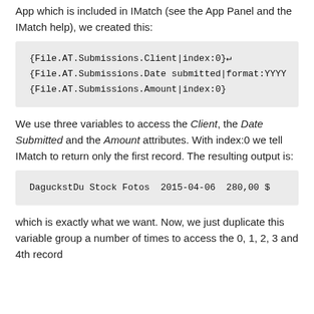App which is included in IMatch (see the App Panel and the IMatch help), we created this:
{File.AT.Submissions.Client|index:0}↵
{File.AT.Submissions.Date submitted|format:YYYY
{File.AT.Submissions.Amount|index:0}
We use three variables to access the Client, the Date Submitted and the Amount attributes. With index:0 we tell IMatch to return only the first record. The resulting output is:
DaguckstDu Stock Fotos  2015-04-06  280,00 $
which is exactly what we want. Now, we just duplicate this variable group a number of times to access the 0, 1, 2, 3 and 4th record